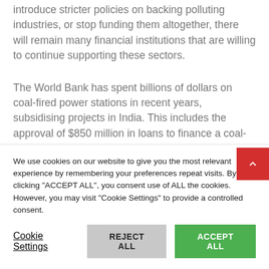introduce stricter policies on backing polluting industries, or stop funding them altogether, there will remain many financial institutions that are willing to continue supporting these sectors.
The World Bank has spent billions of dollars on coal-fired power stations in recent years, subsidising projects in India. This includes the approval of $850 million in loans to finance a coal-fired plant in Gujarat, western India through its
We use cookies on our website to give you the most relevant experience by remembering your preferences repeat visits. By clicking "ACCEPT ALL", you consent use of ALL the cookies. However, you may visit "Cookie Settings" to provide a controlled consent.
Cookie Settings
REJECT ALL
ACCEPT ALL